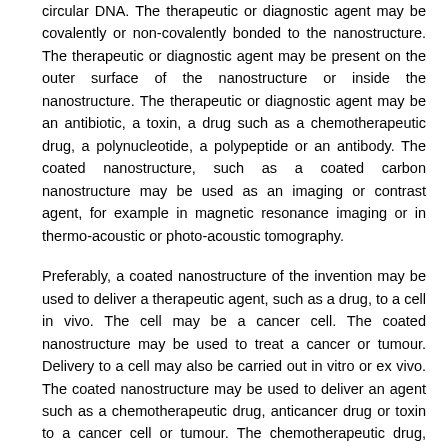circular DNA. The therapeutic or diagnostic agent may be covalently or non-covalently bonded to the nanostructure. The therapeutic or diagnostic agent may be present on the outer surface of the nanostructure or inside the nanostructure. The therapeutic or diagnostic agent may be an antibiotic, a toxin, a drug such as a chemotherapeutic drug, a polynucleotide, a polypeptide or an antibody. The coated nanostructure, such as a coated carbon nanostructure may be used as an imaging or contrast agent, for example in magnetic resonance imaging or in thermo-acoustic or photo-acoustic tomography.
Preferably, a coated nanostructure of the invention may be used to deliver a therapeutic agent, such as a drug, to a cell in vivo. The cell may be a cancer cell. The coated nanostructure may be used to treat a cancer or tumour. Delivery to a cell may also be carried out in vitro or ex vivo. The coated nanostructure may be used to deliver an agent such as a chemotherapeutic drug, anticancer drug or toxin to a cancer cell or tumour. The chemotherapeutic drug, anticancer drug or toxin may be non-covalently bonded to the twist-strained double-stranded circular DNA. The delivery of the therapeutic agent to the cell may comprise relaxation of the twist-strained double-stranded circular DNA. The delivery of the therapeutic agent may comprise removal of the twist-strained double-stranded circular DNA from the nanostructure.
The coated nanostructures may also be used for tissue engineering or in